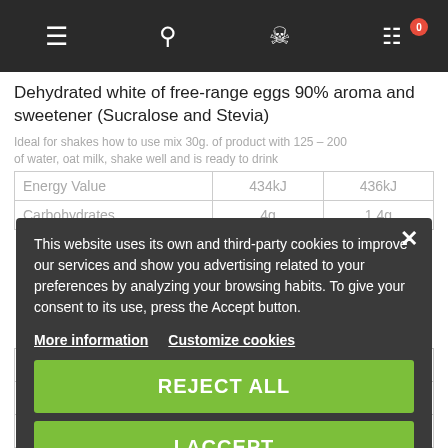Navigation bar with menu, search, account, and cart (0 items) icons
Dehydrated white of free-range eggs 90% aroma and sweetener (Sucralose and Stevia)
This website uses its own and third-party cookies to improve our services and show you advertising related to your preferences by analyzing your browsing habits. To give your consent to its use, press the Accept button.
More information
Customize cookies
REJECT ALL
I ACCEPT
|  | per 100g | per serving |
| --- | --- | --- |
| Energy Value | 434kJ / 103kcal | 436kJ / 104kcal |
| Carbohydrates | 4g | 1,4g |
| of which sugars | 0,5g. | 0g. |
| Protein | 82g. | 24,6g. |
| Salt | 1,60g. | 0,1g. |